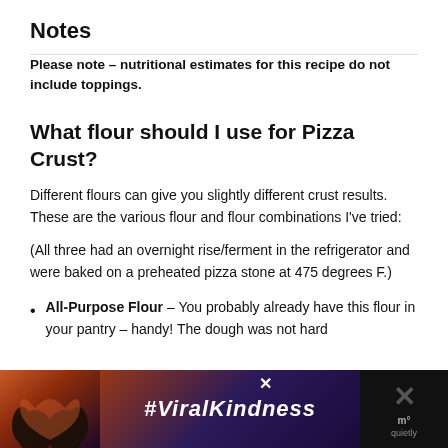Notes
Please note – nutritional estimates for this recipe do not include toppings.
What flour should I use for Pizza Crust?
Different flours can give you slightly different crust results. These are the various flour and flour combinations I've tried:
(All three had an overnight rise/ferment in the refrigerator and were baked on a preheated pizza stone at 475 degrees F.)
All-Purpose Flour – You probably already have this flour in your pantry – handy! The dough was not hard
[Figure (photo): Advertisement banner with heart hands silhouette and #ViralKindness text on a colorful background, with close button and logo.]